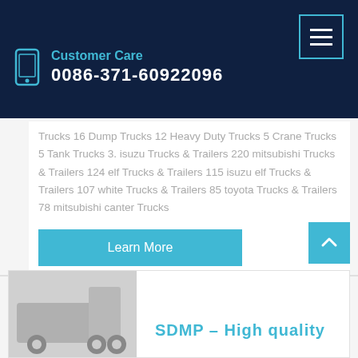Customer Care
0086-371-60922096
Trucks 16 Dump Trucks 12 Heavy Duty Trucks 5 Crane Trucks 5 Tank Trucks 3. isuzu Trucks & Trailers 220 mitsubishi Trucks & Trailers 124 elf Trucks & Trailers 115 isuzu elf Trucks & Trailers 107 white Trucks & Trailers 85 toyota Trucks & Trailers 78 mitsubishi canter Trucks
Learn More
SDMP – High quality